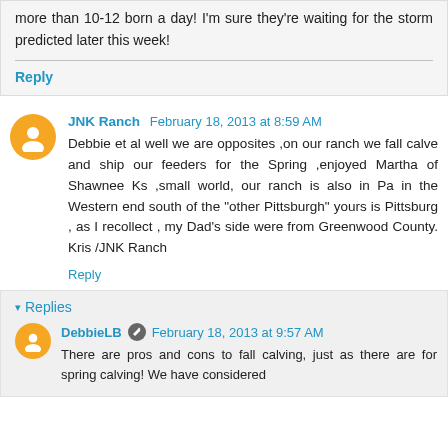more than 10-12 born a day! I'm sure they're waiting for the storm predicted later this week!
Reply
JNK Ranch  February 18, 2013 at 8:59 AM
Debbie et al well we are opposites ,on our ranch we fall calve and ship our feeders for the Spring ,enjoyed Martha of Shawnee Ks ,small world, our ranch is also in Pa in the Western end south of the "other Pittsburgh" yours is Pittsburg , as I recollect , my Dad's side were from Greenwood County. Kris /JNK Ranch
Reply
▾ Replies
DebbieLB  February 18, 2013 at 9:57 AM
There are pros and cons to fall calving, just as there are for spring calving! We have considered